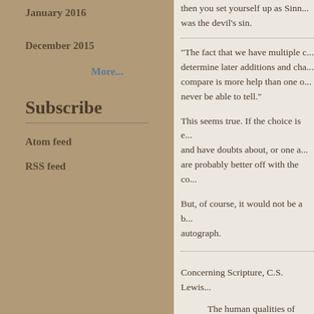January 2016
December 2015
More...
Subscribe
Atom feed
RSS feed
then you set yourself up as Sinn... was the devil's sin.
"The fact that we have multiple c... determine later additions and cha... compare is more help than one o... never be able to tell."
This seems true. If the choice is e... and have doubts about, or one a... are probably better off with the co...
But, of course, it would not be a b... autograph.
Concerning Scripture, C.S. Lewis...
The human qualities of the... contradiction, even (as in... The total result is not "the... itself, gives impeccable s...